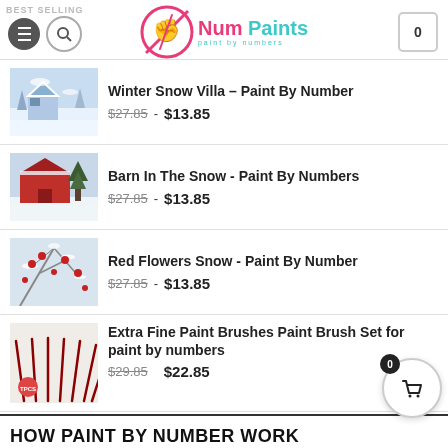BEST SELLING | Num Paints – paint by numbers
[Figure (photo): Winter Snow Villa thumbnail – snowy house with blue winter tones]
Winter Snow Villa – Paint By Number
$27.85  - $13.85
[Figure (photo): Barn In The Snow thumbnail – red barn with white snow]
Barn In The Snow - Paint By Numbers
$27.85  - $13.85
[Figure (photo): Red Flowers Snow thumbnail – red berries on snowy branches]
Red Flowers Snow - Paint By Number
$27.85  - $13.85
[Figure (photo): Extra Fine Paint Brushes thumbnail – red paint brushes fanned out with TPCS logo]
Extra Fine Paint Brushes Paint Brush Set for paint by numbers
$29.85  $22.85
HOW PAINT BY NUMBER WORK